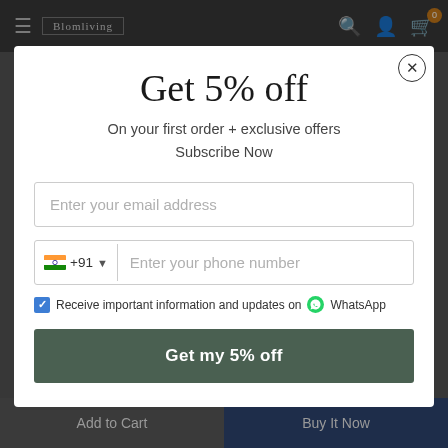[Figure (screenshot): Website navigation bar with hamburger menu, logo, search, account, and cart icons on dark background]
Get 5% off
On your first order + exclusive offers
Subscribe Now
Enter your email address
+91 Enter your phone number
Receive important information and updates on WhatsApp
Get my 5% off
Add to Cart
Buy It Now